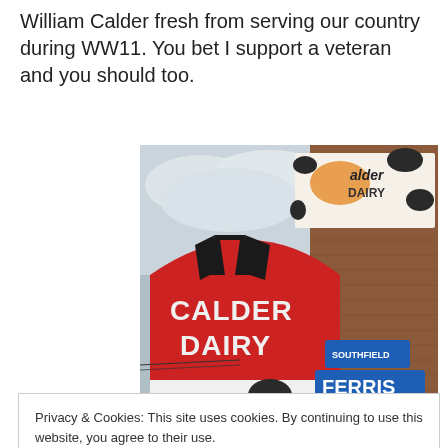William Calder fresh from serving our country during WW11. You bet I support a veteran and you should too.
[Figure (photo): Photo of Calder Dairy building exterior showing a red barn-shaped facade with 'CALDER DAIRY' text, a cow-pattern billboard reading 'Calder DAIRY' on top, and street signs showing 'SOUTHFIELD' and 'FERRIS' at an intersection.]
Privacy & Cookies: This site uses cookies. By continuing to use this website, you agree to their use.
To find out more, including how to control cookies, see here: Cookie Policy
Close and accept
[Figure (photo): Partial bottom photo, partially cut off, showing what appears to be another Calder Dairy related image.]